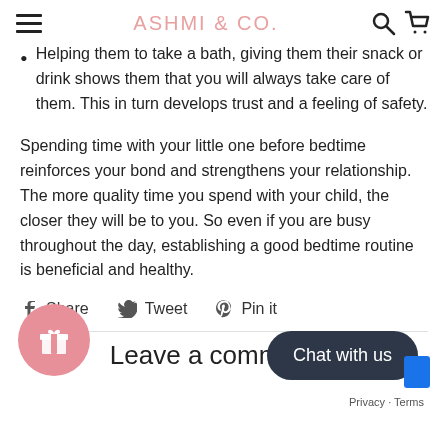ASHMI & CO.
Helping them to take a bath, giving them their snack or drink shows them that you will always take care of them. This in turn develops trust and a feeling of safety.
Spending time with your little one before bedtime reinforces your bond and strengthens your relationship. The more quality time you spend with your child, the closer they will be to you. So even if you are busy throughout the day, establishing a good bedtime routine is beneficial and healthy.
Share  Tweet  Pin it
Leave a comment